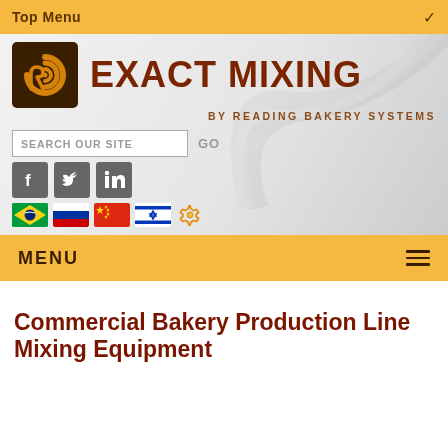Top Menu
[Figure (logo): Exact Mixing by Reading Bakery Systems logo — dark brown square with gold swirl icon, large brown brand name EXACT MIXING, subtitle BY READING BAKERY SYSTEMS]
SEARCH OUR SITE   GO
[Figure (infographic): Social media icons: Facebook, Twitter, LinkedIn (grey square backgrounds)]
[Figure (infographic): Language flag icons: Brazil, Russia, China, Israel, and a gear/settings icon]
MENU
Commercial Bakery Production Line Mixing Equipment